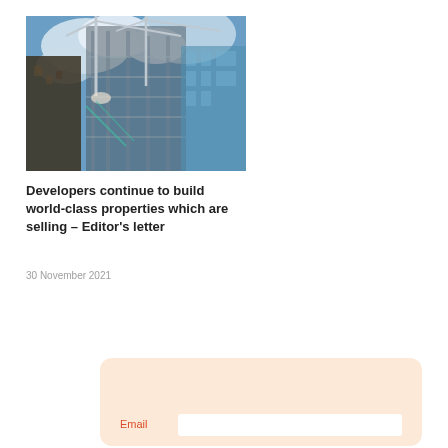[Figure (photo): Construction site photo showing cranes and a building under construction against a cloudy blue sky, viewed from below looking up.]
Developers continue to build world-class properties which are selling – Editor's letter
30 November 2021
Sign up for Property360 Digimag
Email